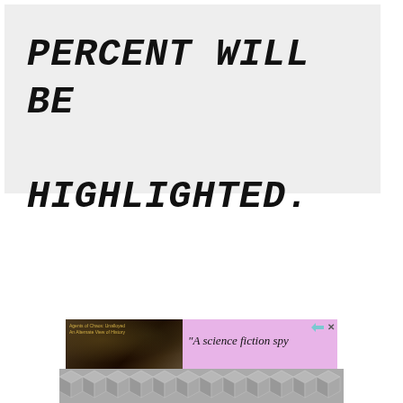PERCENT WILL BE HIGHLIGHTED.
[Figure (screenshot): Advertisement banner with pink/purple background showing a book image on the left and the text 'A science fiction spy' on the right, with an ad badge arrow icon and X in the top right corner.]
[Figure (illustration): Gray geometric cube/hexagon pattern background area at the bottom of the page.]